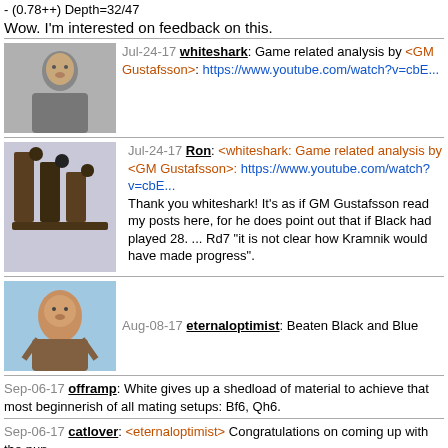- (0.78++) Depth=32/47
Wow. I'm interested on feedback on this.
Jul-24-17 whiteshark: Game related analysis by <GM Gustafsson>: https://www.youtube.com/watch?v=cbE...
Jul-24-17 Ron: <whiteshark: Game related analysis by <GM Gustafsson>: https://www.youtube.com/watch?v=cbE... Thank you whiteshark! It's as if GM Gustafsson read my posts here, for he does point out that if Black had played 28. ... Rd7 "it is not clear how Kramnik would have made progress".
Aug-08-17 eternaloptimist: Beaten Black and Blue
Sep-06-17 offramp: White gives up a shedload of material to achieve that most beginnerish of all mating setups: Bf6, Qh6.
Sep-06-17 catlover: <eternaloptimist> Congratulations on coming up with the pun.
Sep-06-17 kevin86: Kramnik was irresistible here.
Sep-06-17 clma55: What if 30....fxg3. ..? Cannot understand Kg8 having the bishop on f6
Sep-06-17 eternaloptimist: <catlover> Thx! It's the 10th game w/ a pun that I've submitted to CG that has been picked for GOTD! Kramnik played brilliantly in this game for sure. Btw I'm a cat lover too. <Ron> U got it right in your 1st post. Gustafsson mentioned that if Bluebaum would've played 24. ... ♖d7 (not 28. ... ♖d7) then